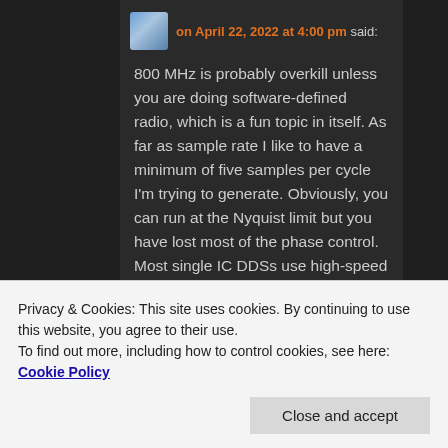said:
800 MHz is probably overkill unless you are doing software-defined radio, which is a fun topic in itself. As far as sample rate I like to have a minimum of five samples per cycle I'm trying to generate. Obviously, you can run at the Nyquist limit but you have lost most of the phase control. Most single IC DDSs use high-speed DACs with only 10 to 12 bits resolution. Low resolution or poor linearity of the
Privacy & Cookies: This site uses cookies. By continuing to use this website, you agree to their use.
To find out more, including how to control cookies, see here: Cookie Policy
issues with harmonic pickup from